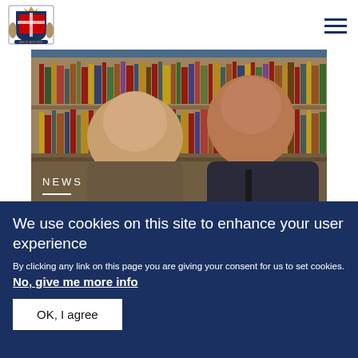[Figure (logo): Royal coat of arms logo in dark blue]
[Figure (photo): Photo of two men (Prince Philip and Prince Harry) seated in a room with bookshelves behind them. NEWS label with white line overlaid on lower portion.]
Prince Harry is
We use cookies on this site to enhance your user experience
By clicking any link on this page you are giving your consent for us to set cookies. No, give me more info
OK, I agree